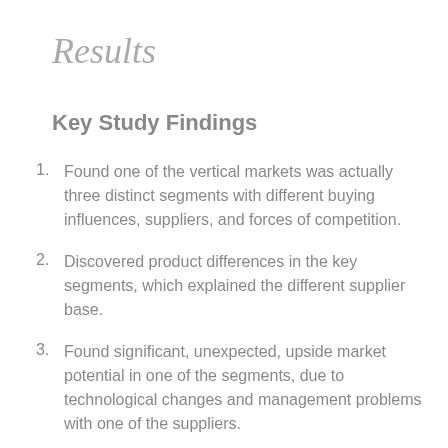Results
Key Study Findings
Found one of the vertical markets was actually three distinct segments with different buying influences, suppliers, and forces of competition.
Discovered product differences in the key segments, which explained the different supplier base.
Found significant, unexpected, upside market potential in one of the segments, due to technological changes and management problems with one of the suppliers.